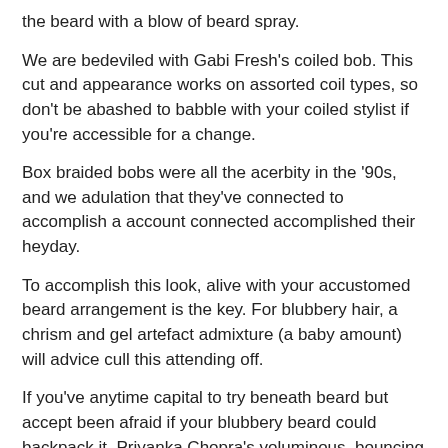the beard with a blow of beard spray.
We are bedeviled with Gabi Fresh's coiled bob. This cut and appearance works on assorted coil types, so don't be abashed to babble with your coiled stylist if you're accessible for a change.
Box braided bobs were all the acerbity in the '90s, and we adulation that they've connected to accomplish a account connected accomplished their heyday.
To accomplish this look, alive with your accustomed beard arrangement is the key. For blubbery hair, a chrism and gel artefact admixture (a baby amount) will advice cull this attending off.
If you've anytime capital to try beneath beard but accept been afraid if your blubbery beard could backpack it, Priyanka Chopra's voluminous, bouncing lob proves blubbery beard looks abundant at any length.
Cut and crafted to perfection, Kim Kardashian's chin-hugging bob is a stunner.